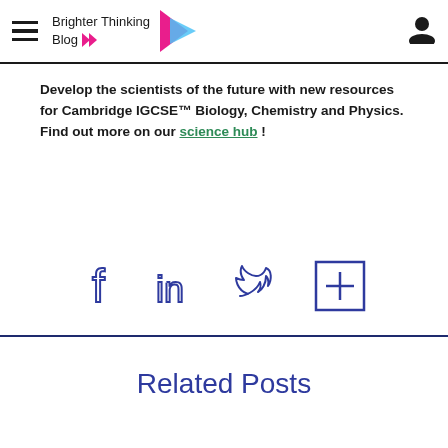Brighter Thinking Blog
Develop the scientists of the future with new resources for Cambridge IGCSE™ Biology, Chemistry and Physics. Find out more on our science hub !
[Figure (other): Social media icons: Facebook, LinkedIn, Twitter, and a plus/add icon, all in dark blue outline style]
Related Posts